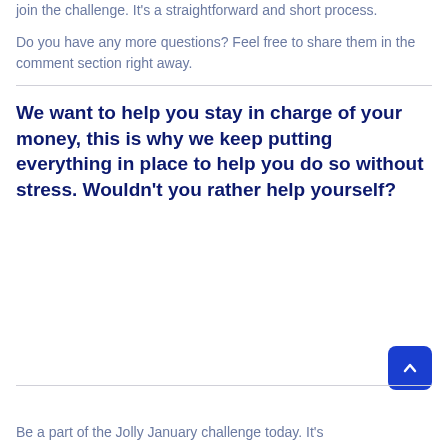join the challenge. It's a straightforward and short process.
Do you have any more questions? Feel free to share them in the comment section right away.
We want to help you stay in charge of your money, this is why we keep putting everything in place to help you do so without stress. Wouldn't you rather help yourself?
Be a part of the Jolly January challenge today. It's